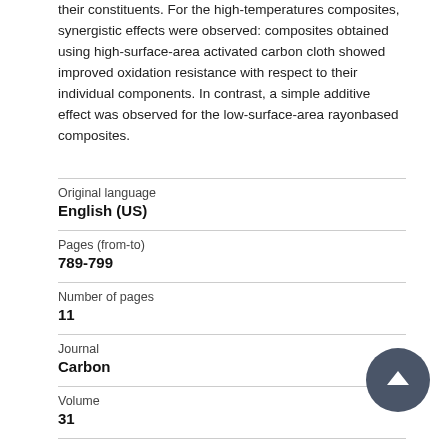their constituents. For the high-temperatures composites, synergistic effects were observed: composites obtained using high-surface-area activated carbon cloth showed improved oxidation resistance with respect to their individual components. In contrast, a simple additive effect was observed for the low-surface-area rayonbased composites.
| Field | Value |
| --- | --- |
| Original language | English (US) |
| Pages (from-to) | 789-799 |
| Number of pages | 11 |
| Journal | Carbon |
| Volume | 31 |
| Issue number |  |